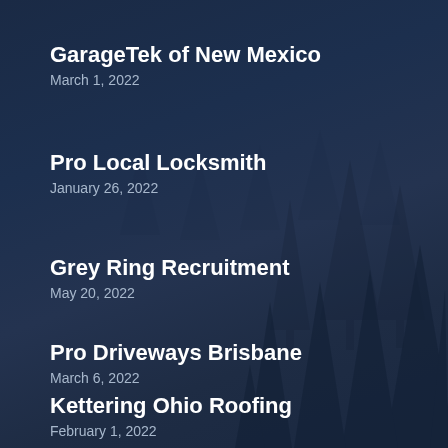GarageTek of New Mexico
March 1, 2022
Pro Local Locksmith
January 26, 2022
Grey Ring Recruitment
May 20, 2022
Pro Driveways Brisbane
March 6, 2022
Kettering Ohio Roofing
February 1, 2022